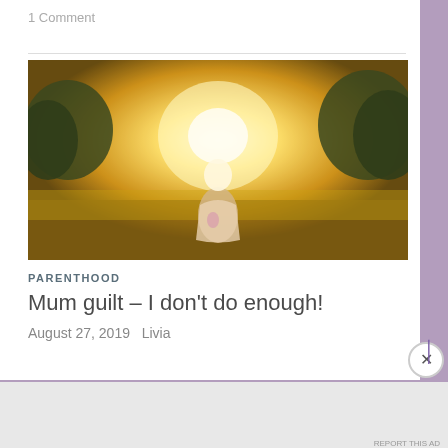1 Comment
[Figure (photo): Child seen from behind walking toward bright sunlight in a golden field with trees in background]
PARENTHOOD
Mum guilt – I don't do enough!
August 27, 2019   Livia
Advertisements
[Figure (screenshot): DuckDuckGo advertisement banner: Search, browse, and email with more privacy. All in One Free App]